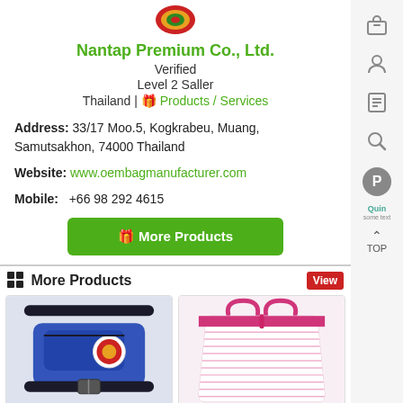[Figure (logo): Nantap Premium Co., Ltd. company logo - circular emblem with red, yellow and green colors]
Nantap Premium Co., Ltd.
Verified
Level 2 Saller
Thailand | 🎁 Products / Services
Address: 33/17 Moo.5, Kogkrabeu, Muang, Samutsakhon, 74000 Thailand
Website: www.oembagmanufacturer.com
Mobile: +66 98 292 4615
[Figure (illustration): Green button with gift icon and text 'More Products']
More Products
[Figure (photo): Blue fanny pack / waist bag with black strap and white logo badge]
[Figure (photo): Pink striped tote bag with pink handles]